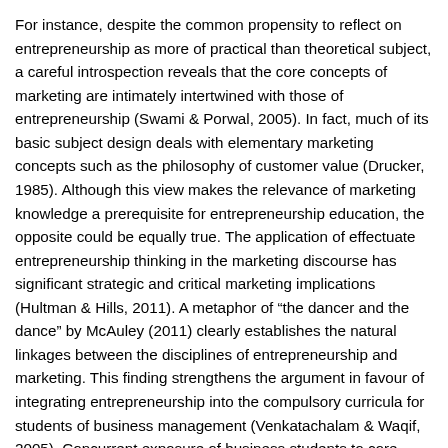For instance, despite the common propensity to reflect on entrepreneurship as more of practical than theoretical subject, a careful introspection reveals that the core concepts of marketing are intimately intertwined with those of entrepreneurship (Swami & Porwal, 2005). In fact, much of its basic subject design deals with elementary marketing concepts such as the philosophy of customer value (Drucker, 1985). Although this view makes the relevance of marketing knowledge a prerequisite for entrepreneurship education, the opposite could be equally true. The application of effectuate entrepreneurship thinking in the marketing discourse has significant strategic and critical marketing implications (Hultman & Hills, 2011). A metaphor of “the dancer and the dance” by McAuley (2011) clearly establishes the natural linkages between the disciplines of entrepreneurship and marketing. This finding strengthens the argument in favour of integrating entrepreneurship into the compulsory curricula for students of business management (Venkatachalam & Waqif, 2005). Concurrent exposure of business students to core courses in marketing or finance along with entrepreneurship would not only reinforce their cross-functional linkages, but would also ensure more synergistic learning from the